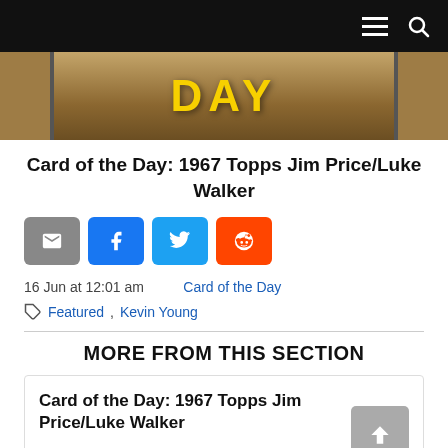Navigation bar with hamburger menu and search icon
[Figure (photo): Hero image showing baseball cards with DAY text in yellow]
Card of the Day: 1967 Topps Jim Price/Luke Walker
[Figure (infographic): Share buttons: email (gray), Facebook (blue), Twitter (light blue), Reddit (orange)]
16 Jun at 12:01 am    Card of the Day
Featured, Kevin Young
MORE FROM THIS SECTION
Card of the Day: 1967 Topps Jim Price/Luke Walker